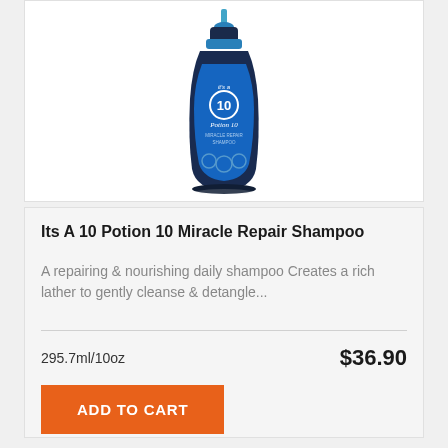[Figure (photo): Product photo of Its A 10 Potion 10 Miracle Repair Shampoo bottle — dark navy blue bottle with blue pump top, blue label with '10' circle logo and decorative pattern, white text.]
Its A 10 Potion 10 Miracle Repair Shampoo
A repairing & nourishing daily shampoo Creates a rich lather to gently cleanse & detangle...
295.7ml/10oz
$36.90
ADD TO CART